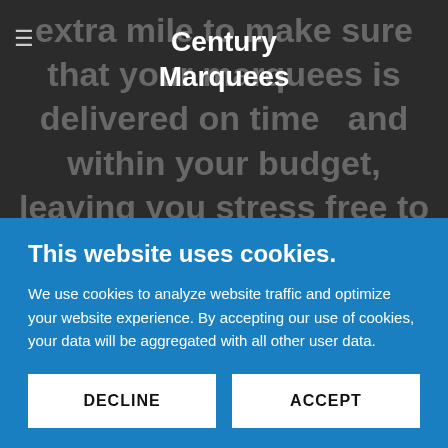Century Marquees
extra mile to make sure that your marquees is delivered on time  and within your budget, leaving you stress free to enjoy your day.
From  the first initial meeting we will listen to all your
This website uses cookies.
We use cookies to analyze website traffic and optimize your website experience. By accepting our use of cookies, your data will be aggregated with all other user data.
DECLINE
ACCEPT